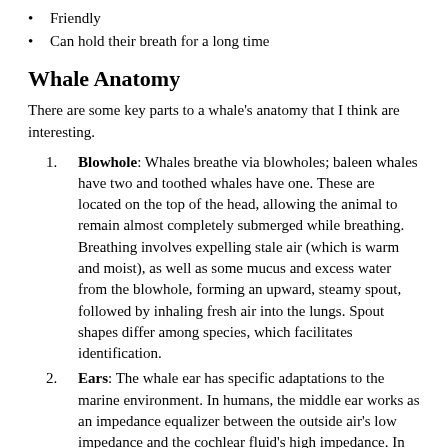Friendly
Can hold their breath for a long time
Whale Anatomy
There are some key parts to a whale's anatomy that I think are interesting.
Blowhole: Whales breathe via blowholes; baleen whales have two and toothed whales have one. These are located on the top of the head, allowing the animal to remain almost completely submerged while breathing. Breathing involves expelling stale air (which is warm and moist), as well as some mucus and excess water from the blowhole, forming an upward, steamy spout, followed by inhaling fresh air into the lungs. Spout shapes differ among species, which facilitates identification.
Ears: The whale ear has specific adaptations to the marine environment. In humans, the middle ear works as an impedance equalizer between the outside air's low impedance and the cochlear fluid's high impedance. In aquatic mammals, such as whales, however, there is no great difference between the outer and inner environments. Instead of sound passing through the outer ear to the middle ear, whales receive sound through the throat, from which it